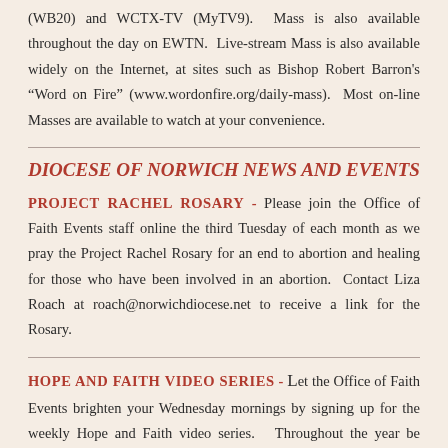(WB20) and WCTX-TV (MyTV9).  Mass is also available throughout the day on EWTN.  Live-stream Mass is also available widely on the Internet, at sites such as Bishop Robert Barron's “Word on Fire” (www.wordonfire.org/daily-mass).  Most on-line Masses are available to watch at your convenience.
DIOCESE OF NORWICH NEWS AND EVENTS
PROJECT RACHEL ROSARY - Please join the Office of Faith Events staff online the third Tuesday of each month as we pray the Project Rachel Rosary for an end to abortion and healing for those who have been involved in an abortion. Contact Liza Roach at roach@norwichdiocese.net to receive a link for the Rosary.
HOPE AND FAITH VIDEO SERIES - Let the Office of Faith Events brighten your Wednesday mornings by signing up for the weekly Hope and Faith video series.  Throughout the year be inspired with varied reflections on Lent, Advent, the Saints, Gratitude